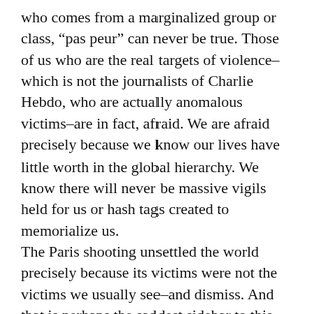who comes from a marginalized group or class, “pas peur” can never be true. Those of us who are the real targets of violence–which is not the journalists of Charlie Hebdo, who are actually anomalous victims–are in fact, afraid. We are afraid precisely because we know our lives have little worth in the global hierarchy. We know there will never be massive vigils held for us or hash tags created to memorialize us.
The Paris shooting unsettled the world precisely because its victims were not the victims we usually see–and dismiss. And that is perhaps the saddest sidebar to this tragedy: that the violence will not end because we will never call it by its real name.
Feminists know the source of the all these brutal killings.When will the rest of the world catch up?